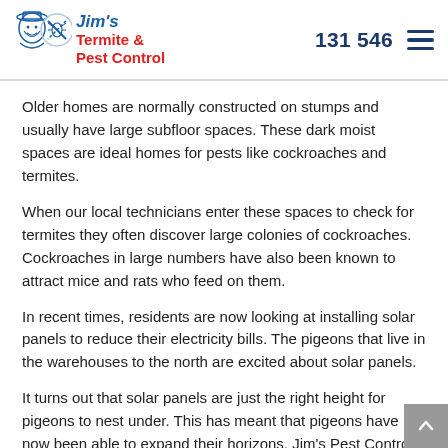Jim's Termite & Pest Control | 131 546
Older homes are normally constructed on stumps and usually have large subfloor spaces. These dark moist spaces are ideal homes for pests like cockroaches and termites.
When our local technicians enter these spaces to check for termites they often discover large colonies of cockroaches. Cockroaches in large numbers have also been known to attract mice and rats who feed on them.
In recent times, residents are now looking at installing solar panels to reduce their electricity bills. The pigeons that live in the warehouses to the north are excited about solar panels.
It turns out that solar panels are just the right height for pigeons to nest under. This has meant that pigeons have now been able to expand their horizons. Jim's Pest Control is